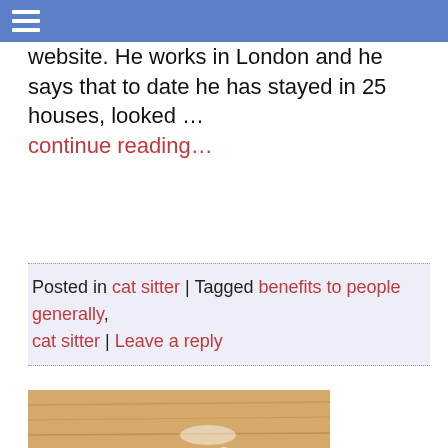☰
website. He works in London and he says that to date he has stayed in 25 houses, looked …
continue reading…
Posted in cat sitter | Tagged benefits to people generally, cat sitter | Leave a reply
[Figure (photo): A knife with a white handle lying on a wooden surface near a wooden step or ledge, with a white paw partially visible]
Cat pushes kitchen knife